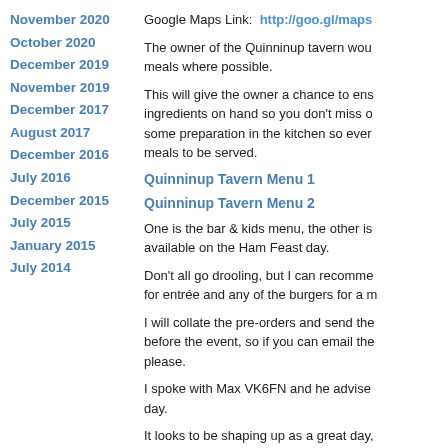November 2020
October 2020
December 2019
November 2019
December 2017
August 2017
December 2016
July 2016
December 2015
July 2015
January 2015
July 2014
Google Maps Link:  http://goo.gl/maps
The owner of the Quinninup tavern wou meals where possible.
This will give the owner a chance to ens ingredients on hand so you don't miss o some preparation in the kitchen so ever meals to be served.
Quinninup Tavern Menu 1
Quinninup Tavern Menu 2
One is the bar & kids menu, the other is available on the Ham Feast day.
Don't all go drooling, but I can recomme for entrée and any of the burgers for a m
I will collate the pre-orders and send the before the event, so if you can email the please.
I spoke with Max VK6FN and he advise day.
It looks to be shaping up as a great day, and start planning your travel arrangem
For those who have already indicated th already. If your situation changes, pleas